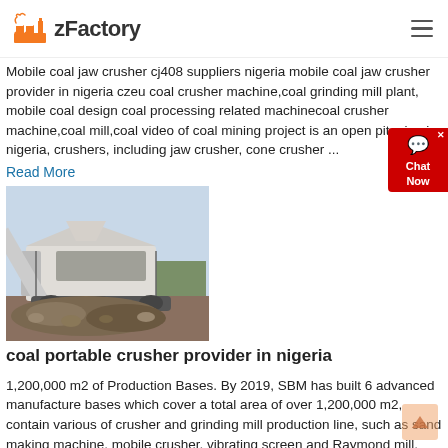zFactory
Mobile coal jaw crusher cj408 suppliers nigeria mobile coal jaw crusher provider in nigeria czeu coal crusher machine,coal grinding mill plant, mobile coal design coal processing related machinecoal crusher machine,coal mill,coal video of coal mining project is an open pit mine in nigeria, crushers, including jaw crusher, cone crusher ...
Read More
[Figure (photo): A mobile coal portable crusher machine on a construction/mining site with crushed rock material in front]
coal portable crusher provider in nigeria
1,200,000 m2 of Production Bases. By 2019, SBM has built 6 advanced manufacture bases which cover a total area of over 1,200,000 m2, contain various of crusher and grinding mill production line, such as sand making machine, mobile crusher, vibrating screen and Raymond mill, etc. And the annual production value can reach RMB 5 billion.